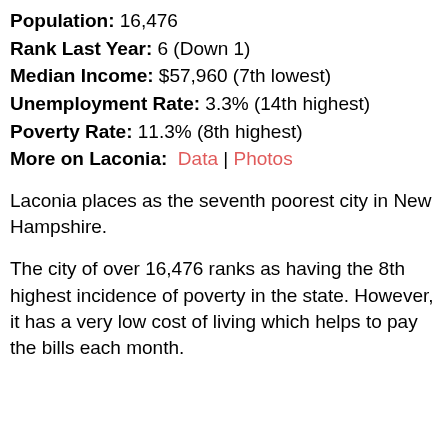Population: 16,476
Rank Last Year: 6 (Down 1)
Median Income: $57,960 (7th lowest)
Unemployment Rate: 3.3% (14th highest)
Poverty Rate: 11.3% (8th highest)
More on Laconia: Data | Photos
Laconia places as the seventh poorest city in New Hampshire.
The city of over 16,476 ranks as having the 8th highest incidence of poverty in the state. However, it has a very low cost of living which helps to pay the bills each month.